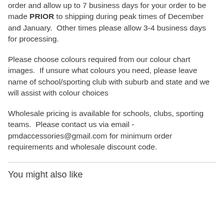order and allow up to 7 business days for your order to be made PRIOR to shipping during peak times of December and January.  Other times please allow 3-4 business days for processing.
Please choose colours required from our colour chart images.  If unsure what colours you need, please leave name of school/sporting club with suburb and state and we will assist with colour choices
Wholesale pricing is available for schools, clubs, sporting teams.  Please contact us via email - pmdaccessories@gmail.com for minimum order requirements and wholesale discount code.
You might also like